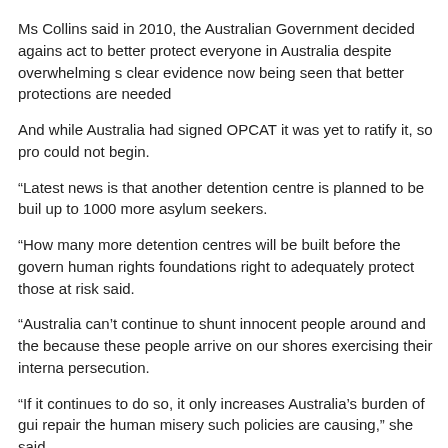Ms Collins said in 2010, the Australian Government decided agains act to better protect everyone in Australia despite overwhelming s clear evidence now being seen that better protections are needed
And while Australia had signed OPCAT it was yet to ratify it, so pro could not begin.
“Latest news is that another detention centre is planned to be buil up to 1000 more asylum seekers.
“How many more detention centres will be built before the govern human rights foundations right to adequately protect those at risk said.
“Australia can’t continue to shunt innocent people around and the because these people arrive on our shores exercising their interna persecution.
“If it continues to do so, it only increases Australia’s burden of gui repair the human misery such policies are causing,” she said.
Tags: Human rights, Asylum seekers and refugees